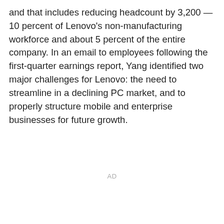and that includes reducing headcount by 3,200 — 10 percent of Lenovo's non-manufacturing workforce and about 5 percent of the entire company. In an email to employees following the first-quarter earnings report, Yang identified two major challenges for Lenovo: the need to streamline in a declining PC market, and to properly structure mobile and enterprise businesses for future growth.
AD